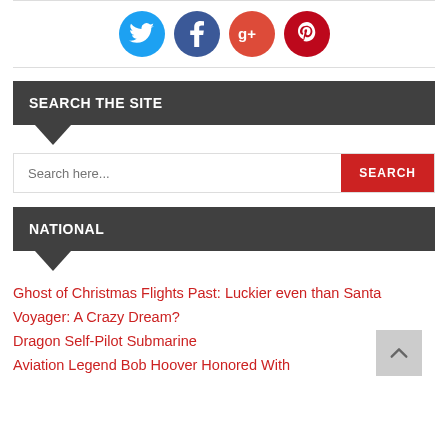[Figure (infographic): Four social media icon circles: Twitter (blue), Facebook (dark blue), Google+ (orange-red), Pinterest (red)]
SEARCH THE SITE
[Figure (other): Search bar with placeholder 'Search here...' and a red SEARCH button]
NATIONAL
Ghost of Christmas Flights Past: Luckier even than Santa
Voyager: A Crazy Dream?
Dragon Self-Pilot Submarine
Aviation Legend Bob Hoover Honored With